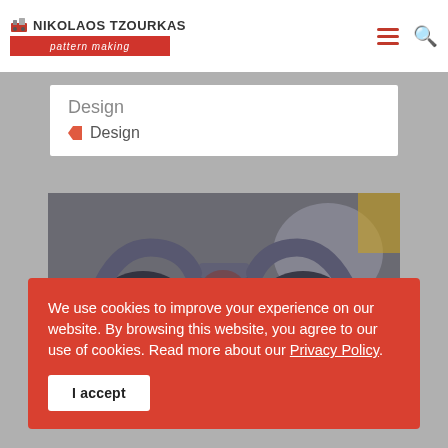NIKOLAOS TZOURKAS pattern making
Design
Design
[Figure (photo): Industrial metal pump parts or casting components — dark metal flanged pump housings with curved pipe fittings]
We use cookies to improve your experience on our website. By browsing this website, you agree to our use of cookies. Read more about our Privacy Policy.
I accept